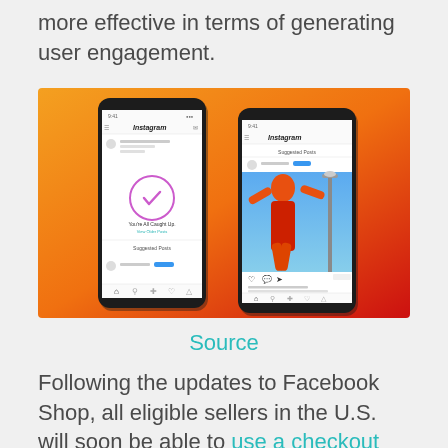more effective in terms of generating user engagement.
[Figure (screenshot): Two smartphone screens showing Instagram interface on an orange-to-red gradient background. Left phone shows 'You're All Caught Up' screen with a circular checkmark and 'Suggested Posts' section. Right phone shows an Instagram post with a person in orange/red clothing against a blue sky.]
Source
Following the updates to Facebook Shop, all eligible sellers in the U.S. will soon be able to use a checkout